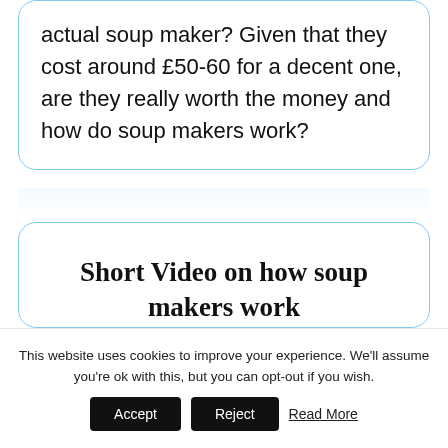actual soup maker? Given that they cost around £50-60 for a decent one, are they really worth the money and how do soup makers work?
Short Video on how soup makers work
This website uses cookies to improve your experience. We'll assume you're ok with this, but you can opt-out if you wish.